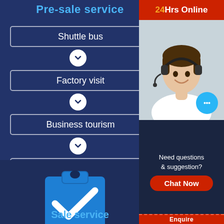Pre-sale service
Shuttle bus
Factory visit
Business tourism
Conference reception
[Figure (illustration): Clipboard with check mark icon in blue]
Sale service
[Figure (infographic): 24Hrs Online sidebar with customer service representative photo, chat bubble, 'Need questions & suggestion?' text, and 'Chat Now' red button]